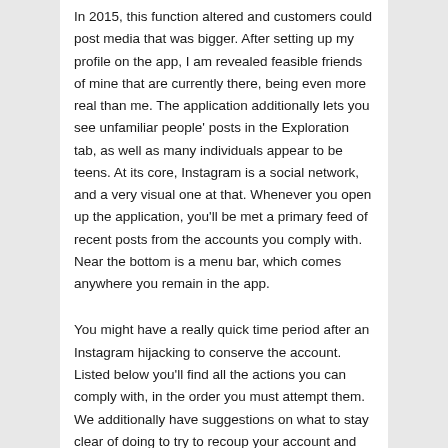In 2015, this function altered and customers could post media that was bigger. After setting up my profile on the app, I am revealed feasible friends of mine that are currently there, being even more real than me. The application additionally lets you see unfamiliar people' posts in the Exploration tab, as well as many individuals appear to be teens. At its core, Instagram is a social network, and a very visual one at that. Whenever you open up the application, you'll be met a primary feed of recent posts from the accounts you comply with. Near the bottom is a menu bar, which comes anywhere you remain in the app.
You might have a really quick time period after an Instagram hijacking to conserve the account. Listed below you'll find all the actions you can comply with, in the order you must attempt them. We additionally have suggestions on what to stay clear of doing to try to recoup your account and also exactly how to protect on your own to start with. Ayisi waded through a complex collection of recuperation tools that failed half a dozen times over the course of a week.